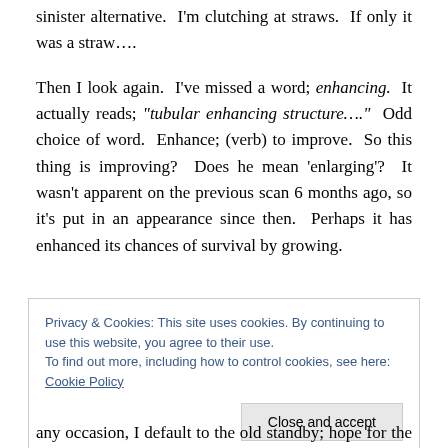sinister alternative.  I'm clutching at straws.  If only it was a straw….
Then I look again.  I've missed a word; enhancing.  It actually reads; "tubular enhancing structure…."  Odd choice of word.  Enhance; (verb) to improve.  So this thing is improving?  Does he mean 'enlarging'?  It wasn't apparent on the previous scan 6 months ago, so it's put in an appearance since then.  Perhaps it has enhanced its chances of survival by growing.
Privacy & Cookies: This site uses cookies. By continuing to use this website, you agree to their use.
To find out more, including how to control cookies, see here: Cookie Policy
Close and accept
any occasion, I default to the old standby; hope for the best